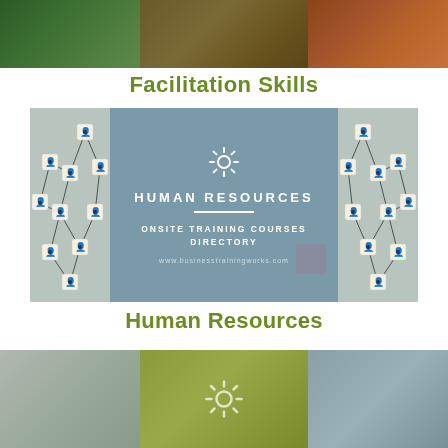[Figure (photo): Top banner strip with three sections: green forest/trees on left, dark olive/brown center, reddish-brown rocky terrain on right]
Facilitation Skills
[Figure (infographic): Human Resources Onsite Training Courses Directory cover image showing wooden dice/cubes with person icons connected by network lines on both sides, with a blue-grey card in the center showing a gear icon, 'HUMAN RESOURCES', a white divider line, 'ONSITE TRAINING COURSES DIRECTORY', and 'www.businesstrainingworks.com']
Human Resources
[Figure (photo): Bottom partial banner strip with three sections: grey/stone texture on left, olive green center with a partial gear icon, blue-grey on right]